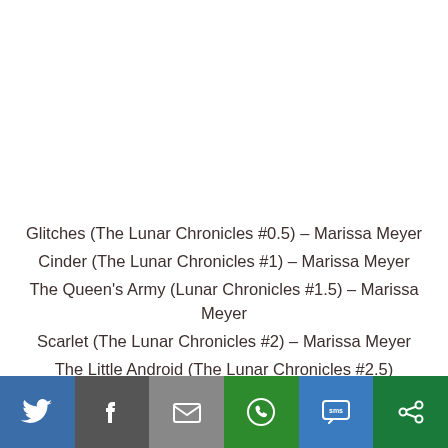Glitches (The Lunar Chronicles #0.5) – Marissa Meyer
Cinder (The Lunar Chronicles #1) – Marissa Meyer
The Queen's Army (Lunar Chronicles #1.5) – Marissa Meyer
Scarlet (The Lunar Chronicles #2) – Marissa Meyer
The Little Android (The Lunar Chronicles #2.5)
[Figure (infographic): Social media share bar with buttons for Twitter, Facebook, Email, WhatsApp, SMS, and More (share icon)]